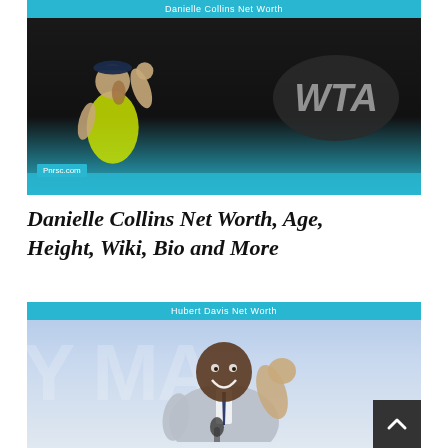[Figure (photo): Danielle Collins tennis player in yellow outfit celebrating with fist raised, WTA logo oval in background, dark background with cyan bottom bar. Site watermark 'Pnrsc.com' bottom left. Header bar reads 'Danielle Collins Net Worth'.]
Danielle Collins Net Worth, Age, Height, Wiki, Bio and More
[Figure (photo): Hubert Davis smiling and waving in a grey suit with dark tie, light blue background with partial 'Y MA' lettering. Header bar reads 'Hubert Davis Net Worth'. Scroll-to-top button in bottom right corner.]